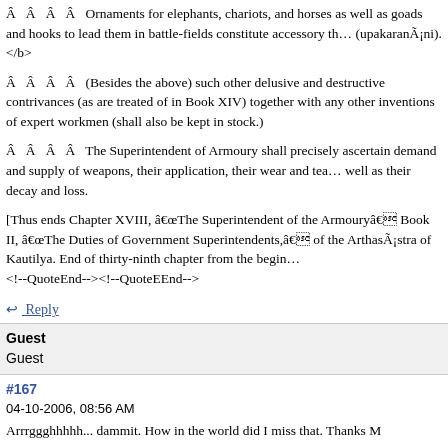Â  Â  Â  Â  Ornaments for elephants, chariots, and horses as well as goads and hooks to lead them in battle-fields constitute accessory things (upakaranÃ¡ni).</b>
Â  Â  Â  Â  (Besides the above) such other delusive and destructive contrivances (as are treated of in Book XIV) together with any other inventions of expert workmen (shall also be kept in stock.)
Â  Â  Â  Â  The Superintendent of Armoury shall precisely ascertain demand and supply of weapons, their application, their wear and tear as well as their decay and loss.
[Thus ends Chapter XVIII, âThe Superintendent of the Armouryâ Book II, âThe Duties of Government Superintendents,â of the ArthasÃ¡stra of Kautilya. End of thirty-ninth chapter from the beginning. <!--QuoteEnd--><!--QuoteEEnd-->
↩ Reply
Guest
Guest
#167
04-10-2006, 08:56 AM
Arrrggghhhhh... dammit. How in the world did I miss that. Thanks M